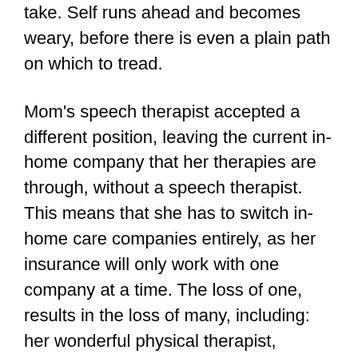strengthens us for each next step we need to take. Self runs ahead and becomes weary, before there is even a plain path on which to tread.
Mom's speech therapist accepted a different position, leaving the current in-home company that her therapies are through, without a speech therapist. This means that she has to switch in-home care companies entirely, as her insurance will only work with one company at a time. The loss of one, results in the loss of many, including: her wonderful physical therapist, occupational therapist, and in-home nursing care team. Progress under the current team has been phenomenal, so we are praying and trusting that the new organization